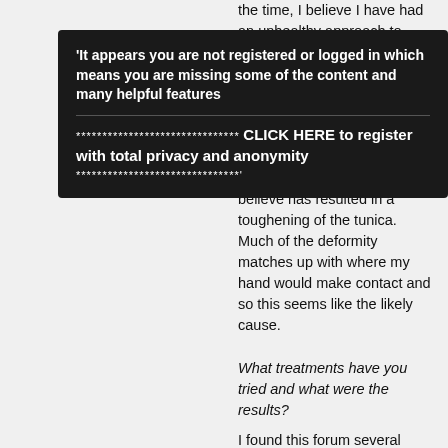the time, I believe I have had an unhealthy approach to masturbation for many years. I would act more than the climax and would frequently "edge" to delay ejaculation. This led a pattern of prolonged sessions of masturbation and sex that I believe has resulted in a toughening of the tunica. Much of the deformity matches up with where my hand would make contact and so this seems like the likely cause.
[Figure (screenshot): Dark overlay box with registration prompt: 'It appears you are not registered or logged in which means you are missing some of the content and many helpful features' followed by a divider and '******************************* CLICK HERE to register with total privacy and anonymity *******************************']
What treatments have you tried and what were the results?
I found this forum several months ago and immediately began all of the over the